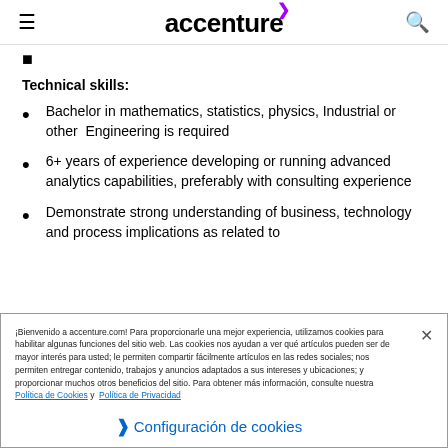accenture
(bullet continuation - partial item)
Technical skills:
Bachelor in mathematics, statistics, physics, Industrial or other  Engineering is required
6+ years of experience developing or running advanced analytics capabilities, preferably with consulting experience
Demonstrate strong understanding of business, technology and process implications as related to
¡Bienvenido a accenture.com! Para proporcionarle una mejor experiencia, utilizamos cookies para habilitar algunas funciones del sitio web. Las cookies nos ayudan a ver qué artículos pueden ser de mayor interés para usted; le permiten compartir fácilmente artículos en las redes sociales; nos permiten entregar contenido, trabajos y anuncios adaptados a sus intereses y ubicaciones; y proporcionar muchos otros beneficios del sitio. Para obtener más información, consulte nuestra Política de Cookies y  Política de Privacidad
Configuración de cookies